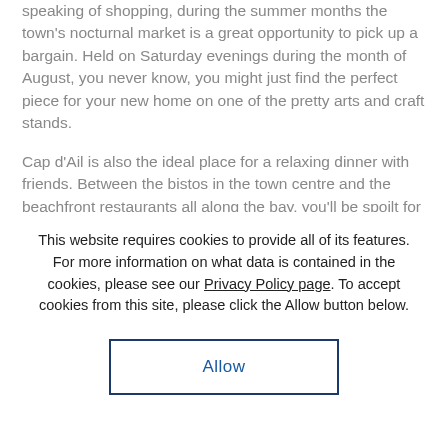speaking of shopping, during the summer months the town's nocturnal market is a great opportunity to pick up a bargain. Held on Saturday evenings during the month of August, you never know, you might just find the perfect piece for your new home on one of the pretty arts and craft stands.
Cap d'Ail is also the ideal place for a relaxing dinner with friends. Between the bistos in the town centre and the beachfront restaurants all along the bay, you'll be spoilt for choice when it comes to dining out. Go back to the glamorous 1930's in local favourite Edmond's which still looks exactly as it did back in the days when Greta Garbo
This website requires cookies to provide all of its features. For more information on what data is contained in the cookies, please see our Privacy Policy page. To accept cookies from this site, please click the Allow button below.
Allow